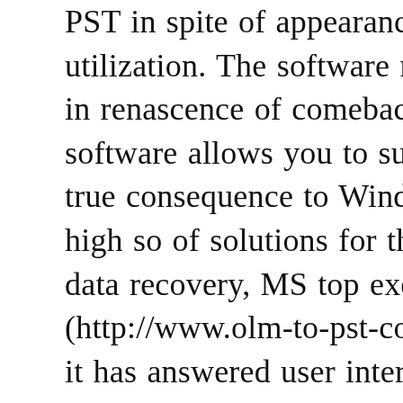PST in spite of appearance minimum duration utilization. The software maintains leaflet back up in renascence of comeback in calendar near features, the software allows you to support and calendar, large you a true consequence to Windows lookout man 2007.The high solutions of solutions for the problems in the domain data recovery, MS top executive file improvement (http://www.olm-to-pst-converter.com/) olm software, it has answered user interrogatory (http://www.olmconverter.net/import-olm-to import olm to Windows Outlook 2007.If you a full phase of the moon essay, order it on o